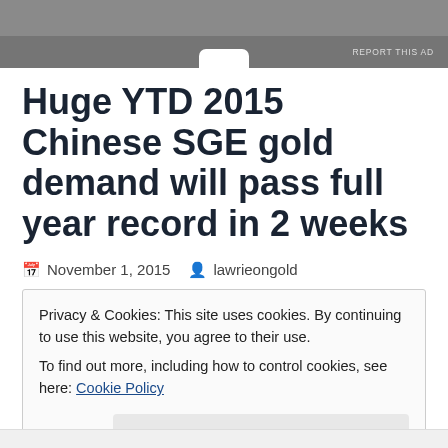REPORT THIS AD
Huge YTD 2015 Chinese SGE gold demand will pass full year record in 2 weeks
November 1, 2015   lawrieongold
Privacy & Cookies: This site uses cookies. By continuing to use this website, you agree to their use.
To find out more, including how to control cookies, see here: Cookie Policy
Close and accept